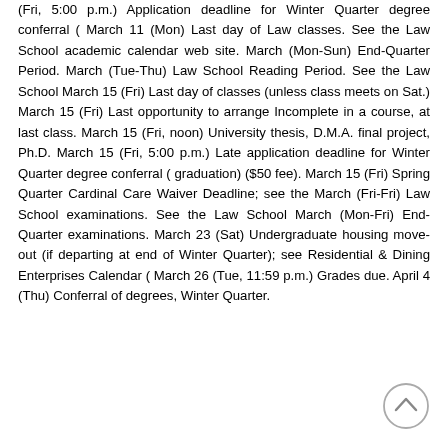(Fri, 5:00 p.m.) Application deadline for Winter Quarter degree conferral ( March 11 (Mon) Last day of Law classes. See the Law School academic calendar web site. March (Mon-Sun) End-Quarter Period. March (Tue-Thu) Law School Reading Period. See the Law School March 15 (Fri) Last day of classes (unless class meets on Sat.) March 15 (Fri) Last opportunity to arrange Incomplete in a course, at last class. March 15 (Fri, noon) University thesis, D.M.A. final project, Ph.D. March 15 (Fri, 5:00 p.m.) Late application deadline for Winter Quarter degree conferral ( graduation) ($50 fee). March 15 (Fri) Spring Quarter Cardinal Care Waiver Deadline; see the March (Fri-Fri) Law School examinations. See the Law School March (Mon-Fri) End-Quarter examinations. March 23 (Sat) Undergraduate housing move-out (if departing at end of Winter Quarter); see Residential & Dining Enterprises Calendar ( March 26 (Tue, 11:59 p.m.) Grades due. April 4 (Thu) Conferral of degrees, Winter Quarter.
[Figure (other): A circular scroll-to-top button with an upward-pointing chevron arrow, located in the bottom-right corner of the page.]